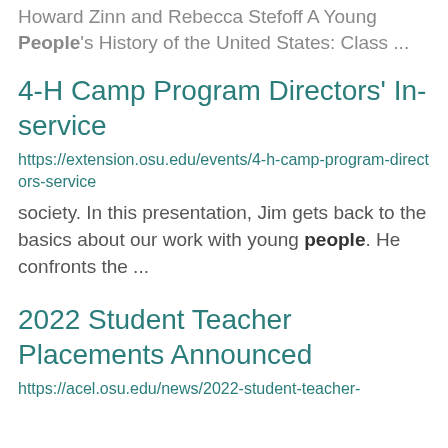Howard Zinn and Rebecca Stefoff A Young People's History of the United States: Class ...
4-H Camp Program Directors' In-service
https://extension.osu.edu/events/4-h-camp-program-directors-service
society. In this presentation, Jim gets back to the basics about our work with young people. He confronts the ...
2022 Student Teacher Placements Announced
https://acel.osu.edu/news/2022-student-teacher-